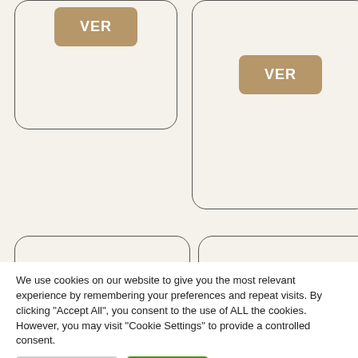[Figure (screenshot): Two card UI elements at top: left card with a tan/khaki 'VER' button at the top, right card with a tan/khaki 'VER' button lower down.]
[Figure (screenshot): Two card UI elements at bottom showing wine variety names: left card shows 'Mencía', right card shows 'Mengoba' (partially cropped).]
We use cookies on our website to give you the most relevant experience by remembering your preferences and repeat visits. By clicking "Accept All", you consent to the use of ALL the cookies. However, you may visit "Cookie Settings" to provide a controlled consent.
Cookie Settings
Accept All